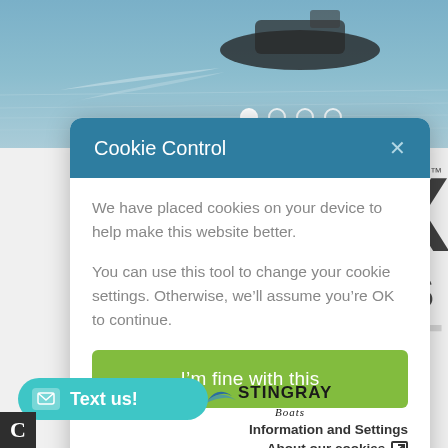[Figure (screenshot): Background photo of a boat on water with navigation slider dots]
Cookie Control
We have placed cookies on your device to help make this website better.
You can use this tool to change your cookie settings. Otherwise, we’ll assume you’re OK to continue.
I’m fine with this
Information and Settings
About our cookies
[Figure (logo): Stingray Boats logo]
Text us!